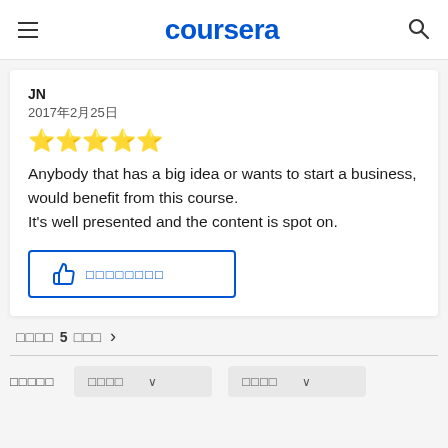coursera
JN
2017年2月25日
[Figure (other): 5 gold star rating]
Anybody that has a big idea or wants to start a business, would benefit from this course.
It's well presented and the content is spot on.
👍 [helpful button with thumbs up icon and text]
前のページ 5 次のページ >
フィルター  並び順  ★の数